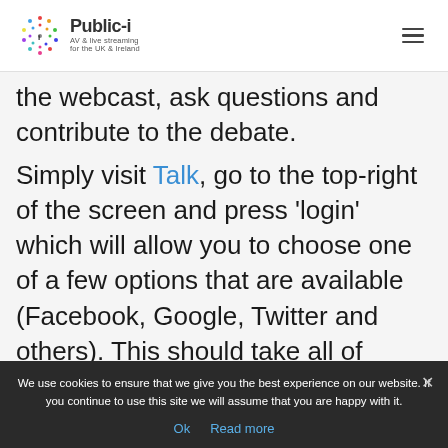Public-i | AV & live streaming for the UK & Ireland
the webcast, ask questions and contribute to the debate.

Simply visit Talk, go to the top-right of the screen and press ‘login’ which will allow you to choose one of a few options that are available (Facebook, Google, Twitter and others). This should take all of about 30 seconds, I promise
We use cookies to ensure that we give you the best experience on our website. If you continue to use this site we will assume that you are happy with it.